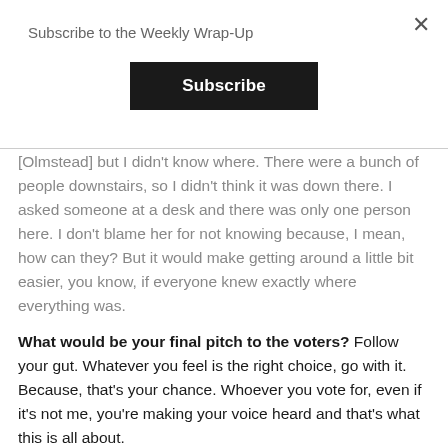Subscribe to the Weekly Wrap-Up
Subscribe
[Olmstead] but I didn't know where. There were a bunch of people downstairs, so I didn't think it was down there. I asked someone at a desk and there was only one person here. I don't blame her for not knowing because, I mean, how can they? But it would make getting around a little bit easier, you know, if everyone knew exactly where everything was.
What would be your final pitch to the voters? Follow your gut. Whatever you feel is the right choice, go with it. Because, that's your chance. Whoever you vote for, even if it's not me, you're making your voice heard and that's what this is all about.